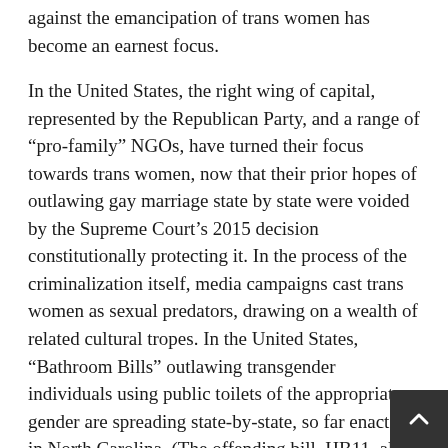against the emancipation of trans women has become an earnest focus.
In the United States, the right wing of capital, represented by the Republican Party, and a range of “pro-family” NGOs, have turned their focus towards trans women, now that their prior hopes of outlawing gay marriage state by state were voided by the Supreme Court’s 2015 decision constitutionally protecting it. In the process of the criminalization itself, media campaigns cast trans women as sexual predators, drawing on a wealth of related cultural tropes. In the United States, “Bathroom Bills” outlawing transgender individuals using public toilets of the appropriate gender are spreading state-by-state, so far enacted in North Carolina. (The offending bill, HB11, also restricted municipalities from introducing regulations such as minimum wages or child labor restrictions, making it something of a reactionaries’ bonanza.) Last year, a proposed measure in Tennessee was defeated after a letter from executives was sent to legislators warning the measur